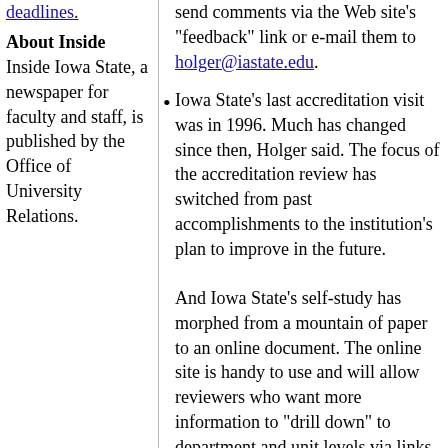deadlines.
About Inside
Inside Iowa State, a newspaper for faculty and staff, is published by the Office of University Relations.
send comments via the Web site's "feedback" link or e-mail them to holger@iastate.edu.
Iowa State's last accreditation visit was in 1996. Much has changed since then, Holger said. The focus of the accreditation review has switched from past accomplishments to the institution's plan to improve in the future.
And Iowa State's self-study has morphed from a mountain of paper to an online document. The online site is handy to use and will allow reviewers who want more information to "drill down" to department and unit levels via links to existing Web sites, Holger said. (Paper versions of the study will be available for those who want it.)